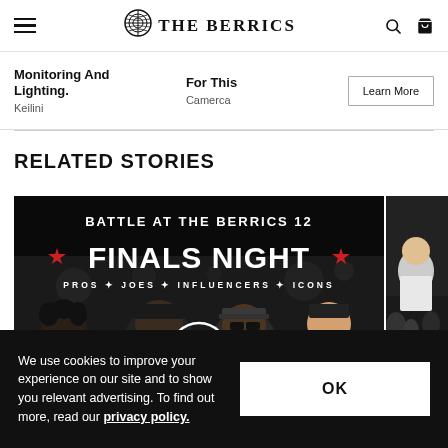THE BERRICS
Monitoring And Lighting.
Keilini
For This
Camerca
RELATED STORIES
[Figure (photo): Battle at the Berrics 12 Finals Night promotional image with multiple skaters and a play button overlay. Text reads: BATTLE AT THE BERRICS 12, FINALS NIGHT, PROS JOES INFLUENCERS ICONS]
[Figure (photo): Partial image of people at an event, showing a young man and crowd in background with CAMERCA branding]
We use cookies to improve your experience on our site and to show you relevant advertising. To find out more, read our privacy policy.